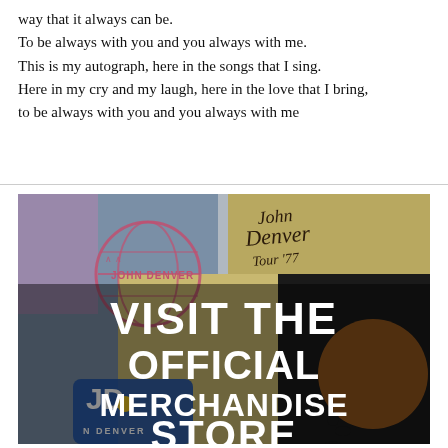way that it always can be.
To be always with you and you always with me.
This is my autograph, here in the songs that I sing.
Here in my cry and my laugh, here in the love that I bring,
to be always with you and you always with me
[Figure (photo): Photo of John Denver merchandise t-shirts with overlay text reading 'VISIT THE OFFICIAL MERCHANDISE STORE']